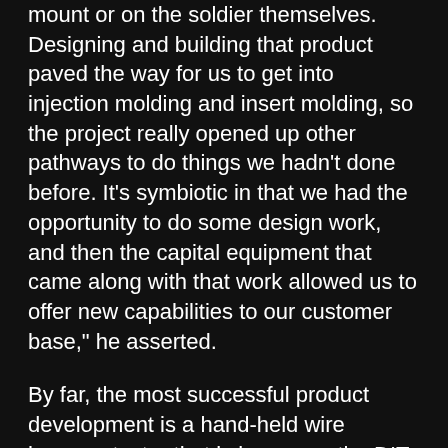mount or on the soldier themselves. Designing and building that product paved the way for us to get into injection molding and insert molding, so the project really opened up other pathways to do things we hadn't done before. It's symbiotic in that we had the opportunity to do some design work, and then the capital equipment that came along with that work allowed us to offer new capabilities to our customer base," he asserted.
By far, the most successful product development is a hand-held wire harness tester that is known as the DIT-MCO HT-128. "Back in 2014, we had a customer who made mining equipment and they were having problems diagnosing hardware issues in the mines. They were making wrong and expensive decisions as to whether problems were being caused by electronic hardware or a faulty wire harness." Todd described